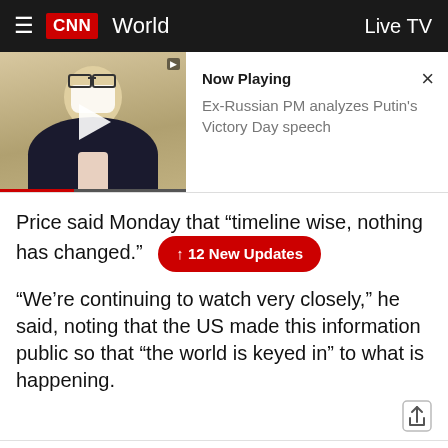CNN World  Live TV
[Figure (screenshot): Video thumbnail showing a man in a dark suit with a white mask, with a play button overlay. Video info panel shows 'Now Playing' and 'Ex-Russian PM analyzes Putin's Victory Day speech' with a close X button.]
Price said Monday that “timeline wise, nothing has changed.”
↑ 12 New Updates
“We’re continuing to watch very closely,” he said, noting that the US made this information public so that “the world is keyed in” to what is happening.
4:43 p.m. ET, May 9, 2022
Biden signs bill to swiftly send US military aid to Ukraine and blames Russia for disrupting supply chains